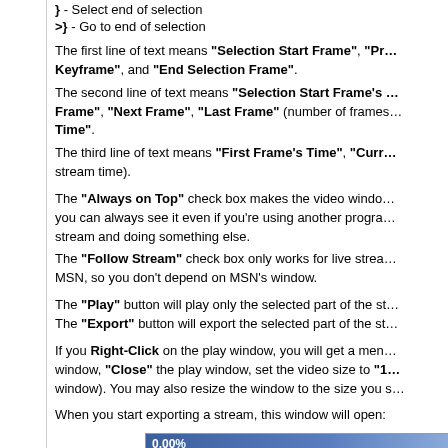} - Select end of selection
>} - Go to end of selection
The first line of text means "Selection Start Frame", "Pr... Keyframe", and "End Selection Frame". The second line of text means "Selection Start Frame's ... Frame", "Next Frame", "Last Frame" (number of frames... Time". The third line of text means "First Frame's Time", "Curr... stream time).
The "Always on Top" check box makes the video windo... you can always see it even if you're using another progra... stream and doing something else. The "Follow Stream" check box only works for live strea... MSN, so you don't depend on MSN's window.
The "Play" button will play only the selected part of the st... The "Export" button will export the selected part of the st...
If you Right-Click on the play window, you will get a men... window, "Close" the play window, set the video size to "1... window). You may also resize the window to the size you s...
When you start exporting a stream, this window will open:
[Figure (screenshot): Export progress dialog showing a progress bar at 0.00% and an Input field row below it.]